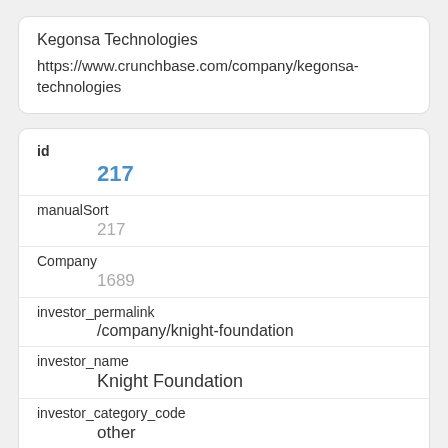Kegonsa Technologies
https://www.crunchbase.com/company/kegonsa-technologies
| field | value |
| --- | --- |
| id | 217 |
| manualSort | 217 |
| Company | 1689 |
| investor_permalink | /company/knight-foundation |
| investor_name | Knight Foundation |
| investor_category_code | other |
| investor_country_code | USA |
| investor_state_code | FL |